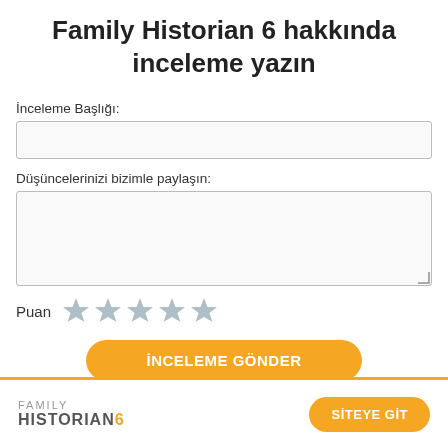Family Historian 6 hakkında inceleme yazın
İnceleme Başlığı:
Düşüncelerinizi bizimle paylaşın:
Puan ★★★★★
İNCELEME GÖNDER
FAMILY HISTORIAN6
SİTEYE GİT